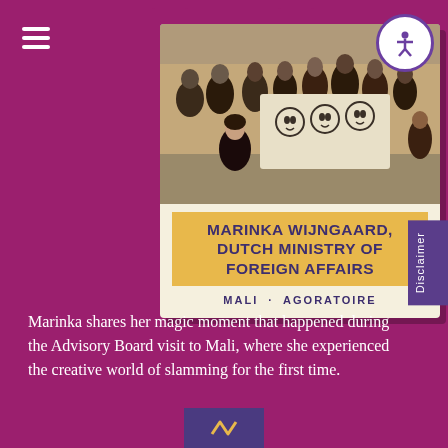[Figure (photo): Polaroid-style card with photo of people holding a hand-drawn portrait banner outdoors, with name and location labels below]
MARINKA WIJNGAARD, DUTCH MINISTRY OF FOREIGN AFFAIRS
MALI · AGORATOIRE
Marinka shares her magic moment that happened during the Advisory Board visit to Mali, where she experienced the creative world of slamming for the first time.